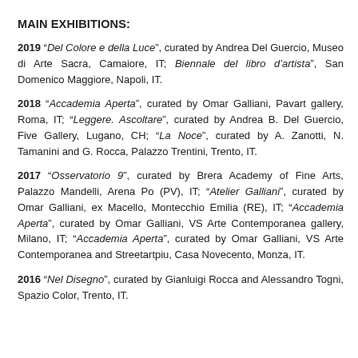MAIN EXHIBITIONS:
2019 “Del Colore e della Luce”, curated by Andrea Del Guercio, Museo di Arte Sacra, Camaiore, IT; Biennale del libro d’artista”, San Domenico Maggiore, Napoli, IT.
2018 “Accademia Aperta”, curated by Omar Galliani, Pavart gallery, Roma, IT; “Leggere. Ascoltare”, curated by Andrea B. Del Guercio, Five Gallery, Lugano, CH; “La Noce”, curated by A. Zanotti, N. Tamanini and G. Rocca, Palazzo Trentini, Trento, IT.
2017 “Osservatorio 9”, curated by Brera Academy of Fine Arts, Palazzo Mandelli, Arena Po (PV), IT; “Atelier Galliani”, curated by Omar Galliani, ex Macello, Montecchio Emilia (RE), IT; “Accademia Aperta”, curated by Omar Galliani, VS Arte Contemporanea gallery, Milano, IT; “Accademia Aperta”, curated by Omar Galliani, VS Arte Contemporanea and Streetartpiu, Casa Novecento, Monza, IT.
2016 “Nel Disegno”, curated by Gianluigi Rocca and Alessandro Togni, Spazio Color, Trento, IT.